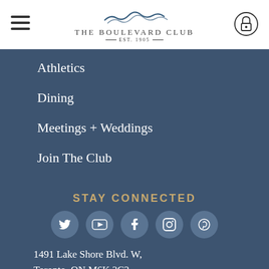[Figure (logo): The Boulevard Club logo with wave graphic, text 'THE BOULEVARD CLUB' and 'EST. 1905']
Athletics
Dining
Meetings + Weddings
Join The Club
STAY CONNECTED
[Figure (infographic): Social media icons: Twitter, YouTube, Facebook, Instagram, Pinterest]
1491 Lake Shore Blvd. W, Toronto, ON M6K 3C2